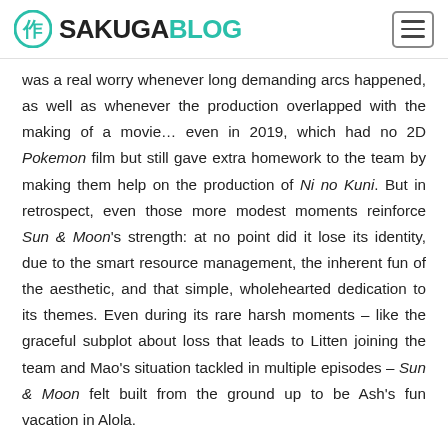SAKUGABLOG
was a real worry whenever long demanding arcs happened, as well as whenever the production overlapped with the making of a movie… even in 2019, which had no 2D Pokemon film but still gave extra homework to the team by making them help on the production of Ni no Kuni. But in retrospect, even those more modest moments reinforce Sun & Moon's strength: at no point did it lose its identity, due to the smart resource management, the inherent fun of the aesthetic, and that simple, wholehearted dedication to its themes. Even during its rare harsh moments – like the graceful subplot about loss that leads to Litten joining the team and Mao's situation tackled in multiple episodes – Sun & Moon felt built from the ground up to be Ash's fun vacation in Alola.